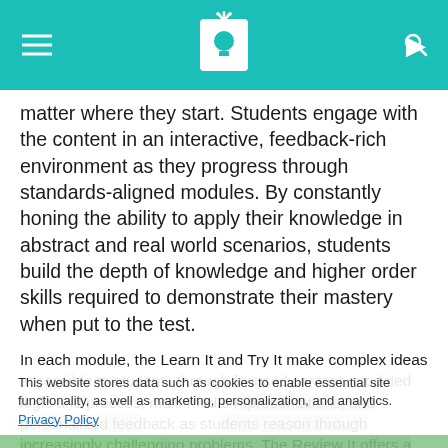[Navigation header with hamburger menu, logo, and search icon]
matter where they start. Students engage with the content in an interactive, feedback-rich environment as they progress through standards-aligned modules. By constantly honing the ability to apply their knowledge in abstract and real world scenarios, students build the depth of knowledge and higher order skills required to demonstrate their mastery when put to the test.
In each module, the Learn It and Try It make complex ideas accessible to students through focused content, modeled logic and process, multi-modal representations, and personalized feedback as students reason through increasingly challenging problems. The Review It offers a high impact summary of key concepts and relates those concepts to students' lives. The Test It assesses
This website stores data such as cookies to enable essential site functionality, as well as marketing, personalization, and analytics. Privacy Policy
Accept
Deny